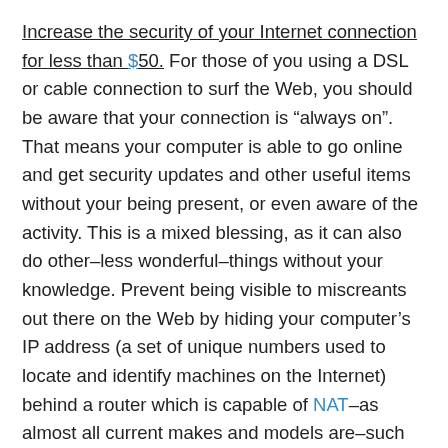Increase the security of your Internet connection for less than $50. For those of you using a DSL or cable connection to surf the Web, you should be aware that your connection is “always on”. That means your computer is able to go online and get security updates and other useful items without your being present, or even aware of the activity. This is a mixed blessing, as it can also do other–less wonderful–things without your knowledge. Prevent being visible to miscreants out there on the Web by hiding your computer’s IP address (a set of unique numbers used to locate and identify machines on the Internet) behind a router which is capable of NAT–as almost all current makes and models are–such as those sold by Linksys, Netgear, and D-Link. You can research models on the Web, and then find the best prices on such shopping sites as www.buy.com and Shopzilla. If your router allows for